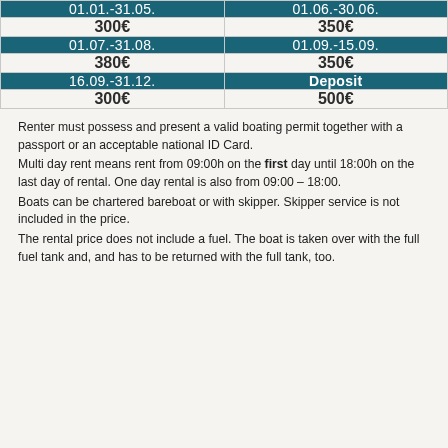| 01.01.-31.05. | 01.06.-30.06. | 01.07.-31.08. | 01.09.-15.09. | 16.09.-31.12. | Deposit |
| --- | --- | --- | --- | --- | --- |
| 300€ | 350€ |
| 380€ | 350€ |
| 300€ | 500€ |
Renter must possess and present a valid boating permit together with a passport or an acceptable national ID Card.
Multi day rent means rent from 09:00h on the first day until 18:00h on the last day of rental. One day rental is also from 09:00 – 18:00.
Boats can be chartered bareboat or with skipper. Skipper service is not included in the price.
The rental price does not include a fuel. The boat is taken over with the full fuel tank and, and has to be returned with the full tank, too.